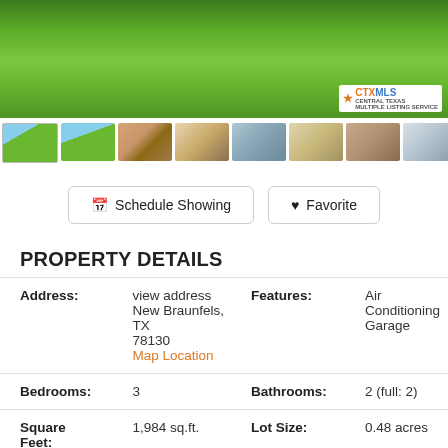[Figure (photo): Hero image showing green lawn/grass yard of a property]
[Figure (photo): Thumbnail strip of 8 property photos showing exterior and interior views]
Schedule Showing   Favorite
PROPERTY DETAILS
| Address: | view address
New Braunfels, TX 78130
Map Location | Features: | Air Conditioning
Garage |
| Bedrooms: | 3 | Bathrooms: | 2 (full: 2) |
| Square Feet: | 1,984 sq.ft. | Lot Size: | 0.48 acres |